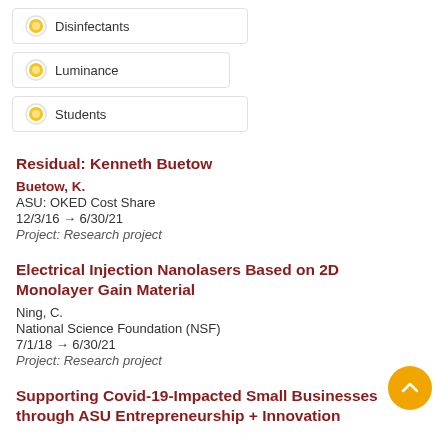Disinfectants
Luminance
Students
Residual: Kenneth Buetow
Buetow, K.
ASU: OKED Cost Share
12/3/16 → 6/30/21
Project: Research project
Electrical Injection Nanolasers Based on 2D Monolayer Gain Material
Ning, C.
National Science Foundation (NSF)
7/1/18 → 6/30/21
Project: Research project
Supporting Covid-19-Impacted Small Businesses through ASU Entrepreneurship + Innovation